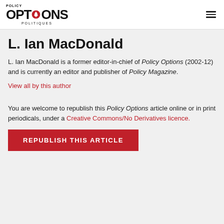Policy OPTIONS POLITIQUES
L. Ian MacDonald
L. Ian MacDonald is a former editor-in-chief of Policy Options (2002-12) and is currently an editor and publisher of Policy Magazine.
View all by this author
You are welcome to republish this Policy Options article online or in print periodicals, under a Creative Commons/No Derivatives licence.
REPUBLISH THIS ARTICLE